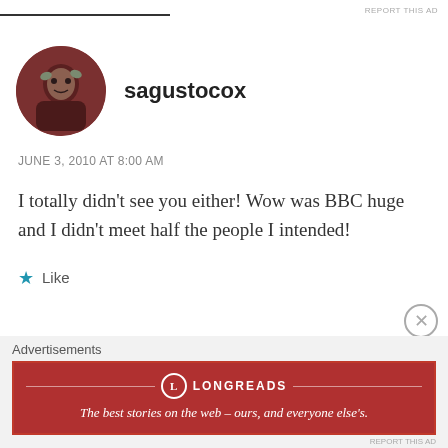REPORT THIS AD
sagustocox
JUNE 3, 2010 AT 8:00 AM
I totally didn't see you either! Wow was BBC huge and I didn't meet half the people I intended!
Like
Dot
Advertisements
LONGREADS
The best stories on the web – ours, and everyone else's.
REPORT THIS AD